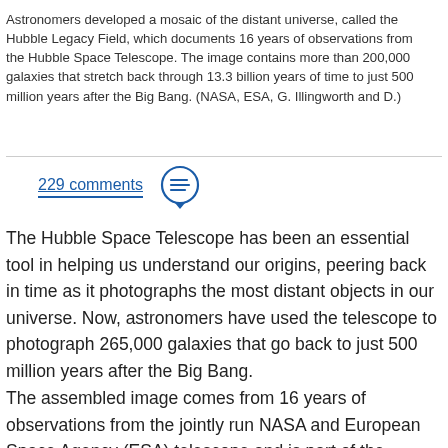Astronomers developed a mosaic of the distant universe, called the Hubble Legacy Field, which documents 16 years of observations from the Hubble Space Telescope. The image contains more than 200,000 galaxies that stretch back through 13.3 billion years of time to just 500 million years after the Big Bang. (NASA, ESA, G. Illingworth and D.)
229 comments
The Hubble Space Telescope has been an essential tool in helping us understand our origins, peering back in time as it photographs the most distant objects in our universe. Now, astronomers have used the telescope to photograph 265,000 galaxies that go back to just 500 million years after the Big Bang.
The assembled image comes from 16 years of observations from the jointly run NASA and European Space Agency (ESA) telescope and is part of the Hubble